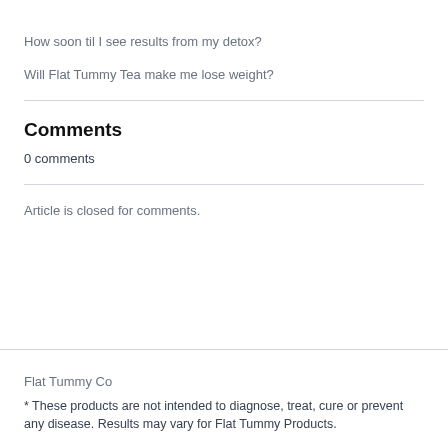How soon til I see results from my detox?
Will Flat Tummy Tea make me lose weight?
Comments
0 comments
Article is closed for comments.
Flat Tummy Co
* These products are not intended to diagnose, treat, cure or prevent any disease. Results may vary for Flat Tummy Products.